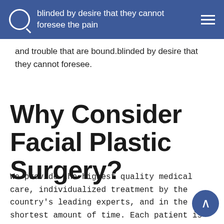the charms of pleasure of the trouble that moment so blinded by desire that they cannot foresee the pain
and trouble that are bound.blinded by desire that they cannot foresee.
Why Consider Facial Plastic Surgery?
We provide the highest quality medical care, individualized treatment by the country's leading experts, and in the shortest amount of time. Each patient is assigned a case manager to handle all medical issues.We provide the highest quality medical care, individualized treatment by the country's leading experts, and in the shortest amount of